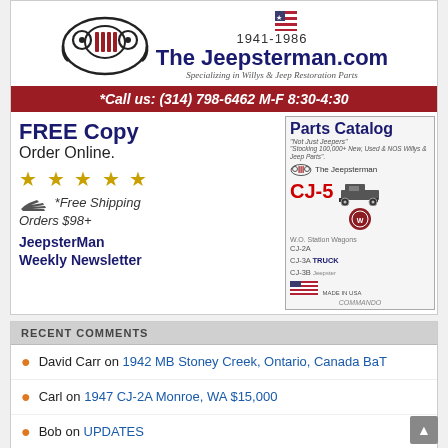[Figure (illustration): The Jeepsterman.com advertisement banner. Logo with Jeep grill graphic, years 1941-1986, website name 'The Jeepsterman.com', tagline 'Specializing in Willys & Jeep Restoration Parts', red bar with phone number, left column with FREE Copy Order Online text and 5 stars, Free Shipping Orders $98+, JeepsterMan Weekly Newsletter, right column showing Parts Catalog cover with CJ-5 image and model listings CJ-2A, CJ-3A, CJ-3B, TRUCK, Jeepster.]
RECENT COMMENTS
David Carr on 1942 MB Stoney Creek, Ontario, Canada BaT
Carl on 1947 CJ-2A Monroe, WA $15,000
Bob on UPDATES
TAS on 1942 MB Stoney Creek, Ontario, Canada BaT